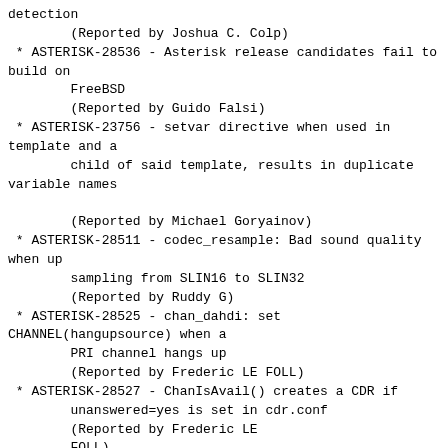detection
        (Reported by Joshua C. Colp)
* ASTERISK-28536 - Asterisk release candidates fail to build on
        FreeBSD
        (Reported by Guido Falsi)
* ASTERISK-23756 - setvar directive when used in template and a
        child of said template, results in duplicate variable names

        (Reported by Michael Goryainov)
* ASTERISK-28511 - codec_resample: Bad sound quality when up
        sampling from SLIN16 to SLIN32
        (Reported by Ruddy G)
* ASTERISK-28525 - chan_dahdi: set CHANNEL(hangupsource) when a
        PRI channel hangs up
        (Reported by Frederic LE FOLL)
* ASTERISK-28527 - ChanIsAvail() creates a CDR if unanswered=yes is set in cdr.conf
        (Reported by Frederic LE
        FOLL)
* ASTERISK-28499 - translate: Crash when frame does not have a
        "src" field set
        (Reported by Gregory Massel)
* ASTERISK-25592 - chan_unistim: Clang Warning: